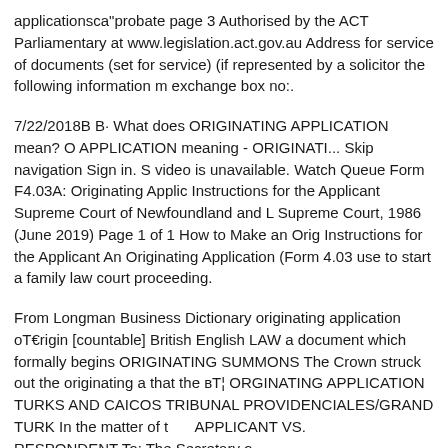applicationsBT"probate page 3 Authorised by the ACT Parliamentary at www.legislation.act.gov.au Address for service of documents (set for service) (if represented by a solicitor the following information m exchange box no:.
7/22/2018B B· What does ORIGINATING APPLICATION mean? O APPLICATION meaning - ORIGINATI... Skip navigation Sign in. S video is unavailable. Watch Queue Form F4.03A: Originating Applic Instructions for the Applicant Supreme Court of Newfoundland and L Supreme Court, 1986 (June 2019) Page 1 of 1 How to Make an Orig Instructions for the Applicant An Originating Application (Form 4.03 use to start a family law court proceeding.
From Longman Business Dictionary originating application o/I€rigin [countable] British English LAW a document which formally begins ORIGINATING SUMMONS The Crown struck out the originating a that the BT¦ ORGINATING APPLICATION TURKS AND CAICOS TRIBUNAL PROVIDENCIALES/GRAND TURK In the matter of t _____ APPLICANT VS. _____ RESPONDENT To: The Secretary o